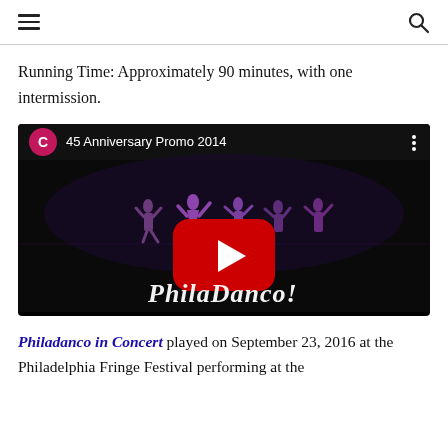menu | search
Running Time: Approximately 90 minutes, with one intermission.
[Figure (screenshot): YouTube video thumbnail showing Philadanco dancers on stage, with a red play button in the center. The video title reads '45 Anniversary Promo 2014'. The channel icon shows a pink/magenta circle with the letter C. The word 'PhilaDanco!' appears in white script at the bottom of the thumbnail.]
Philadanco in Concert played on September 23, 2016 at the Philadelphia Fringe Festival performing at the